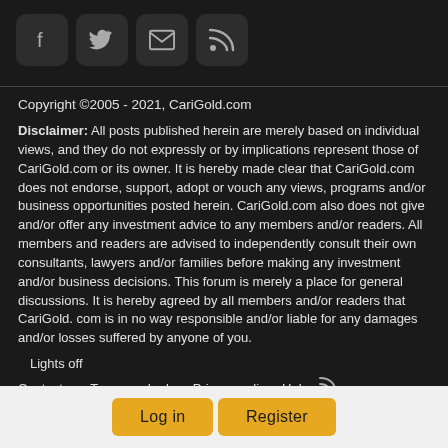[Figure (other): Four social media icon buttons: Facebook (f), Twitter (bird), Email (envelope), RSS (signal waves), each in a dark rounded square]
Copyright ©2005 - 2021, CariGold.com
Disclaimer: All posts published herein are merely based on individual views, and they do not expressly or by implications represent those of CariGold.com or its owner. It is hereby made clear that CariGold.com does not endorse, support, adopt or vouch any views, programs and/or business opportunities posted herein. CariGold.com also does not give and/or offer any investment advice to any members and/or readers. All members and readers are advised to independently consult their own consultants, lawyers and/or families before making any investment and/or business decisions. This forum is merely a place for general discussions. It is hereby agreed by all members and/or readers that CariGold. com is in no way responsible and/or liable for any damages and/or losses suffered by anyone of you.
Lights off
Contact us   Terms and rules   Privacy policy   Help   [RSS]
Log in   Register